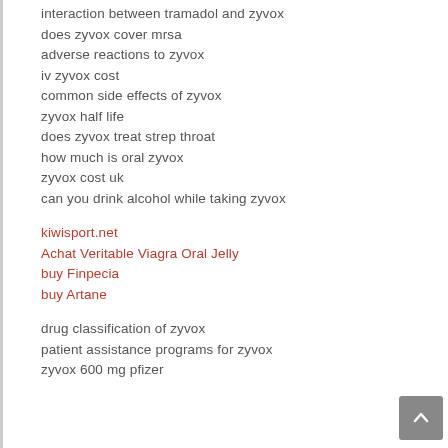interaction between tramadol and zyvox
does zyvox cover mrsa
adverse reactions to zyvox
iv zyvox cost
common side effects of zyvox
zyvox half life
does zyvox treat strep throat
how much is oral zyvox
zyvox cost uk
can you drink alcohol while taking zyvox
kiwisport.net
Achat Veritable Viagra Oral Jelly
buy Finpecia
buy Artane
drug classification of zyvox
patient assistance programs for zyvox
zyvox 600 mg pfizer